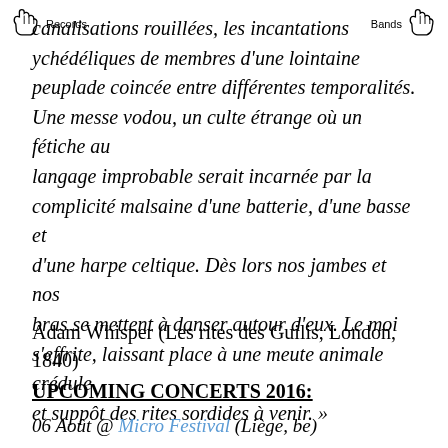Records   Bands
canalisations rouillées, les incantations psychédéliques de membres d'une lointaine peuplade coincée entre différentes temporalités. Une messe vodou, un culte étrange où un fétiche au langage improbable serait incarnée par la complicité malsaine d'une batterie, d'une basse et d'une harpe celtique. Dès lors nos jambes et nos bras se mettent à danser autour d'eux. Le moi s'effrite, laissant place à une meute animale crédule et suppôt des rites sordides à venir. »
Adam Whisper (Les rites des Guilis, London, 1840)
UPCOMING CONCERTS 2016:
06 Août @ Micro Festival (Liège, be)